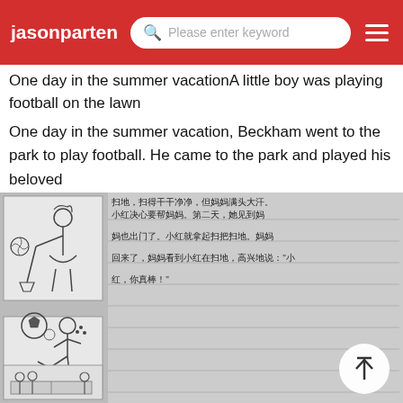jasonparten — search bar: Please enter keyword — menu
One day in the summer vacationA little boy was playing football on the lawn
One day in the summer vacation, Beckham went to the park to play football. He came to the park and played his beloved
[Figure (photo): Photograph of a handwritten Chinese student composition notebook page with two comic-style illustration panels on the left: top panel shows a girl sweeping/mopping floor, middle panel shows a boy kicking a soccer ball. The right side contains handwritten Chinese characters. A third partial panel with children playing ping pong is visible at the bottom.]